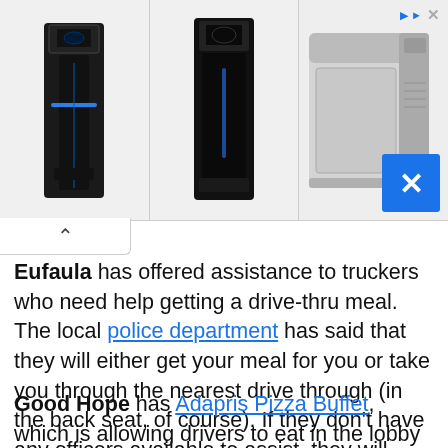[Figure (photo): Advertisement banner showing three 3D printers side by side. Left: dark printer with blue accent lighting. Center: tall dark printer. Right: white/silver boxy printer. Top right shows a blue triangle ad marker and an X close button. Bottom right shows a blue box with a large X.]
Eufaula has offered assistance to truckers who need help getting a drive-thru meal. The local police department has said that they will either get your meal for you or take you through the nearest drive through (in the back seat, of course). If they don't have any officers available to assist, they will secure someone who can. Just call 334-687-1200 for assistance.
Good Hope has Adapris Pizza Buffet, which is allowing drivers to eat in the lobby as of March 20th